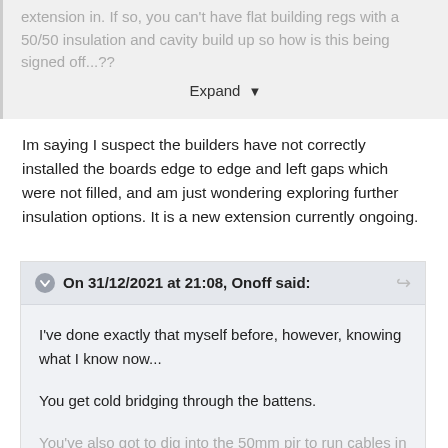extension in. If so, you can't have flat building regs with a 50/50 insulation and cavity build up so how is this being signed off...??
Expand
Im saying I suspect the builders have not correctly installed the boards edge to edge and left gaps which were not filled, and am just wondering exploring further insulation options. It is a new extension currently ongoing.
On 31/12/2021 at 21:08, Onoff said:
I've done exactly that myself before, however, knowing what I know now...

You get cold bridging through the battens.

You've also got to dig into the 50mm pir to run cables in
Expand